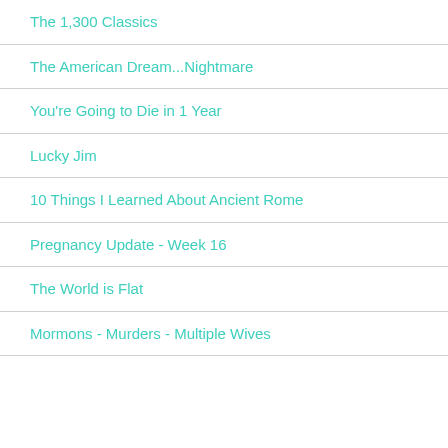The 1,300 Classics
The American Dream...Nightmare
You're Going to Die in 1 Year
Lucky Jim
10 Things I Learned About Ancient Rome
Pregnancy Update - Week 16
The World is Flat
Mormons - Murders - Multiple Wives